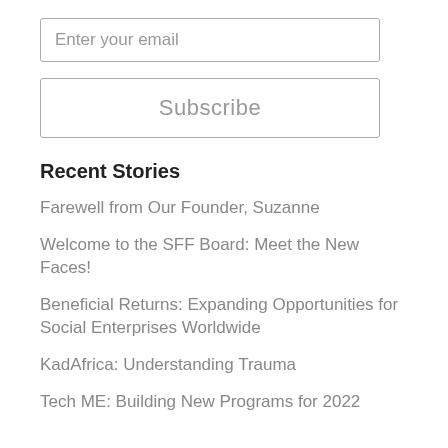Enter your email
Subscribe
Recent Stories
Farewell from Our Founder, Suzanne
Welcome to the SFF Board: Meet the New Faces!
Beneficial Returns: Expanding Opportunities for Social Enterprises Worldwide
KadAfrica: Understanding Trauma
Tech ME: Building New Programs for 2022